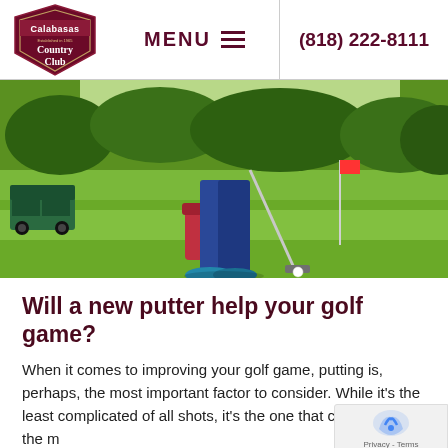MENU  |  (818) 222-8111
[Figure (photo): Golfer putting on a green golf course, with a golf cart and trees in the background. Close-up on lower body and putter.]
Will a new putter help your golf game?
When it comes to improving your golf game, putting is, perhaps, the most important factor to consider. While it's the least complicated of all shots, it's the one that causes golfers the m…